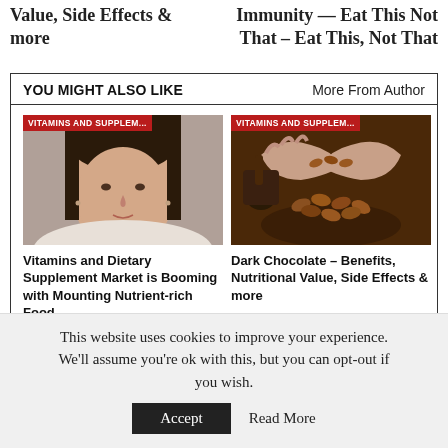Value, Side Effects & more
Immunity — Eat This Not That – Eat This, Not That
YOU MIGHT ALSO LIKE
More From Author
[Figure (photo): Portrait photo of a woman with dark hair]
[Figure (photo): Hands holding cacao beans over a bowl]
Vitamins and Dietary Supplement Market is Booming with Mounting Nutrient-rich Food...
Dark Chocolate – Benefits, Nutritional Value, Side Effects & more
This website uses cookies to improve your experience. We'll assume you're ok with this, but you can opt-out if you wish.
Accept
Read More